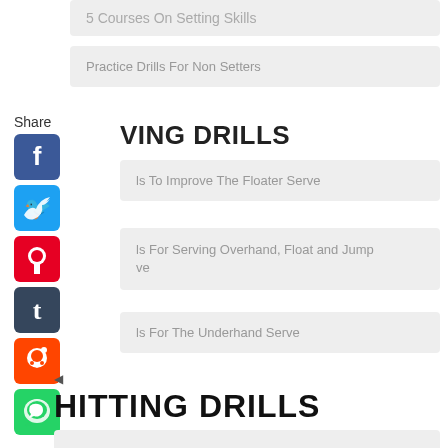5 Courses On Setting Skills
Practice Drills For Non Setters
Share
VING DRILLS
ls To Improve The Floater Serve
ls For Serving Overhand, Float and Jump ve
ls For The Underhand Serve
HITTING DRILLS